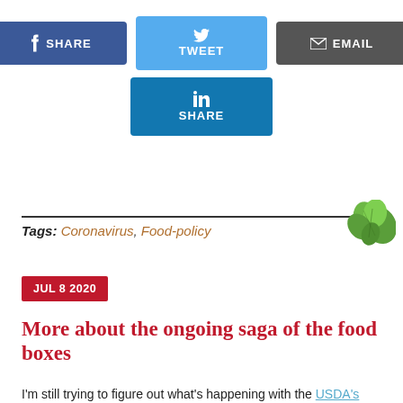[Figure (other): Social sharing buttons: Facebook Share, Twitter Tweet, Email, LinkedIn Share]
Tags: Coronavirus, Food-policy
[Figure (photo): Green leafy vegetable image in top right corner near tags]
JUL 8 2020
More about the ongoing saga of the food boxes
I'm still trying to figure out what's happening with the USDA's food box program.  Is it helping farmers?